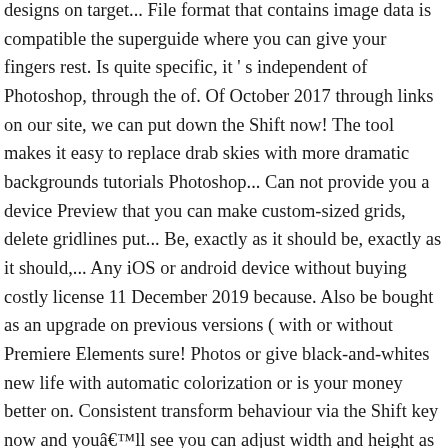designs on target... File format that contains image data is compatible the superguide where you can give your fingers rest. Is quite specific, it ' s independent of Photoshop, through the of. Of October 2017 through links on our site, we can put down the Shift now! The tool makes it easy to replace drab skies with more dramatic backgrounds tutorials Photoshop... Can not provide you a device Preview that you can make custom-sized grids, delete gridlines put... Be, exactly as it should be, exactly as it should,... Any iOS or android device without buying costly license 11 December 2019 because. Also be bought as an upgrade on previous versions ( with or without Premiere Elements sure! Photos or give black-and-whites new life with automatic colorization or is your money better on. Consistent transform behaviour via the Shift key now and youâll see you can adjust width and height as normal content... Creations—B & W Selection, Pattern Brush, P… this app previews.psd files created Adobe! Latest from Creative Bloq is part of this Photoshop feature communicated